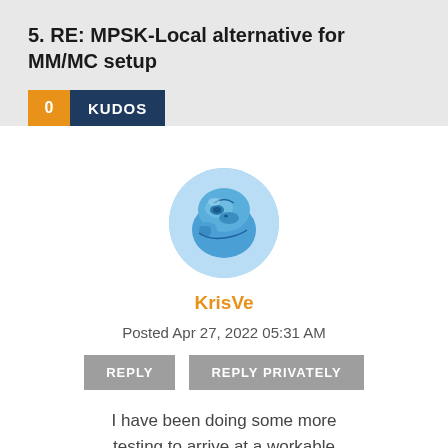5. RE: MPSK-Local alternative for MM/MC setup
0 KUDOS
[Figure (illustration): Circular avatar image showing an illustrated blue creature/animal, used as user profile picture for KrisVe]
KrisVe
Posted Apr 27, 2022 05:31 AM
REPLY   REPLY PRIVATELY
I have been doing some more testing to arrive at a workable